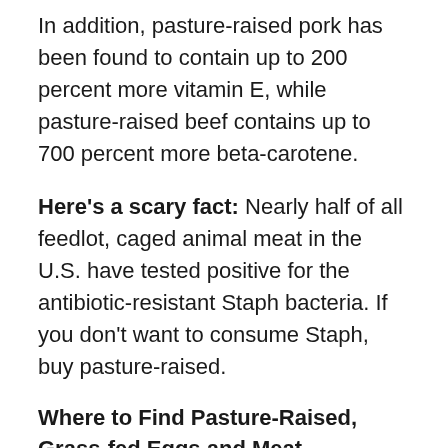In addition, pasture-raised pork has been found to contain up to 200 percent more vitamin E, while pasture-raised beef contains up to 700 percent more beta-carotene.
Here's a scary fact: Nearly half of all feedlot, caged animal meat in the U.S. have tested positive for the antibiotic-resistant Staph bacteria. If you don't want to consume Staph, buy pasture-raised.
Where to Find Pasture-Raised, Grass-fed Eggs and Meat
Grocery stores like Trader Joe's and Whole Foods all carry pasture-raised, grass-fed products. If you don't live near any stores with organic products, your best bet is to search online for local farms that fully disclose their animal welfare practices. Some may even let you visit their farms to see their free animals up close.